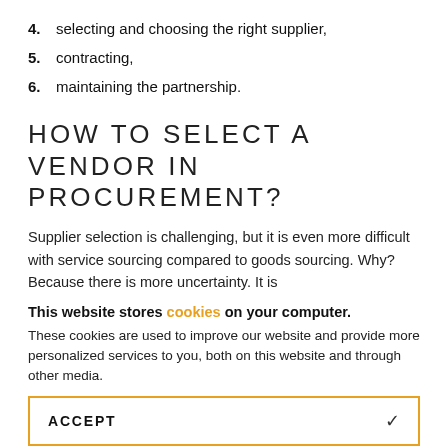4. selecting and choosing the right supplier,
5. contracting,
6. maintaining the partnership.
HOW TO SELECT A VENDOR IN PROCUREMENT?
Supplier selection is challenging, but it is even more difficult with service sourcing compared to goods sourcing. Why? Because there is more uncertainty. It is
This website stores cookies on your computer.
These cookies are used to improve our website and provide more personalized services to you, both on this website and through other media.
ACCEPT